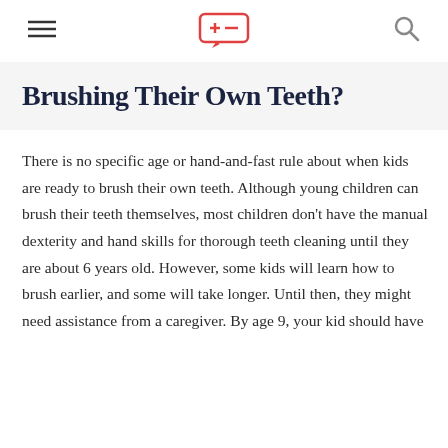[menu icon] [logo] [search icon]
Brushing Their Own Teeth?
There is no specific age or hand-and-fast rule about when kids are ready to brush their own teeth. Although young children can brush their teeth themselves, most children don't have the manual dexterity and hand skills for thorough teeth cleaning until they are about 6 years old. However, some kids will learn how to brush earlier, and some will take longer. Until then, they might need assistance from a caregiver. By age 9, your kid should have learned to brush well with out...